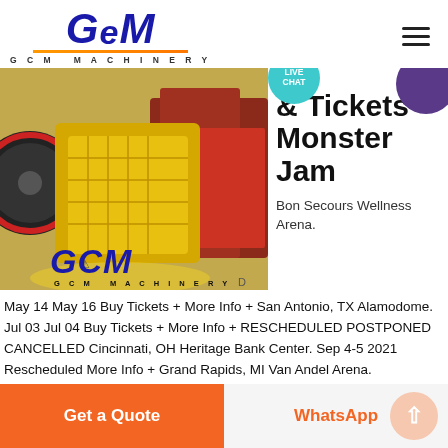[Figure (logo): GCM Machinery logo with blue italic GCM text and orange underline bar]
[Figure (photo): Industrial jaw crusher machinery in yellow color with GCM Machinery watermark overlay, industrial factory background with red machinery]
& Tickets Monster Jam
Bon Secours Wellness Arena.
May 14 May 16 Buy Tickets + More Info + San Antonio, TX Alamodome. Jul 03 Jul 04 Buy Tickets + More Info + RESCHEDULED POSTPONED CANCELLED Cincinnati, OH Heritage Bank Center. Sep 4-5 2021 Rescheduled More Info + Grand Rapids, MI Van Andel Arena.
Get a Quote
WhatsApp